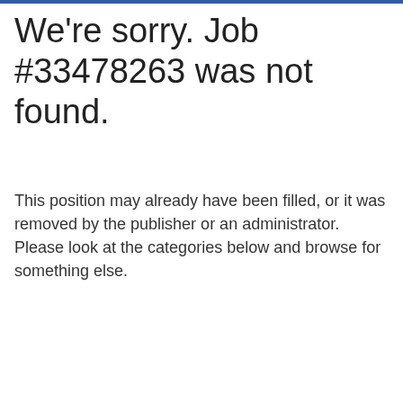We're sorry. Job #33478263 was not found.
This position may already have been filled, or it was removed by the publisher or an administrator. Please look at the categories below and browse for something else.